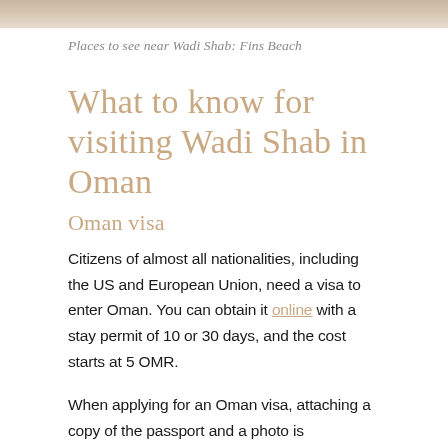[Figure (photo): Partial image of Fins Beach near Wadi Shab, showing sandy beach and ocean water from an aerial or elevated view]
Places to see near Wadi Shab: Fins Beach
What to know for visiting Wadi Shab in Oman
Oman visa
Citizens of almost all nationalities, including the US and European Union, need a visa to enter Oman. You can obtain it online with a stay permit of 10 or 30 days, and the cost starts at 5 OMR.
When applying for an Oman visa, attaching a copy of the passport and a photo is necessary. After that, just wait to receive the email with the approval (mine took 24 hours), then print it to present to immigration on